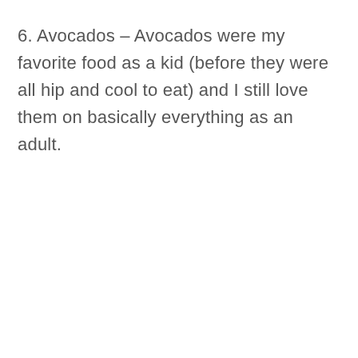6. Avocados – Avocados were my favorite food as a kid (before they were all hip and cool to eat) and I still love them on basically everything as an adult.